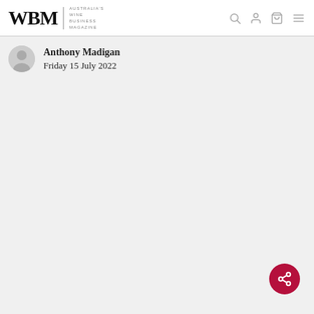WBM | AUSTRALIA'S WINE BUSINESS MAGAZINE
Anthony Madigan
Friday 15 July 2022